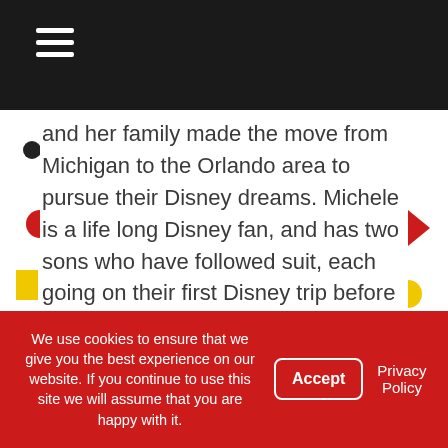Navigation bar with hamburger menu icon
and her family made the move from Michigan to the Orlando area to pursue their Disney dreams. Michele is a life long Disney fan, and has two sons who have followed suit, each going on their first Disney trip before their first birthday's. Part of the goal Michele has for The Main Street Mouse is not only to keep members informed, but to create somewhat of a Disney Family by relating to others through personal experiences and opinions. Also, Michele is making it a priority to share stories of inspiration
We use cookies to ensure that we give you the best experience on our website. If you continue to use this site we will assume that you are happy with it.